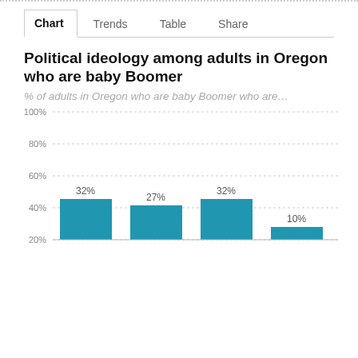Chart  Trends  Table  Share
Political ideology among adults in Oregon who are baby Boomer
% of adults in Oregon who are baby Boomer who are…
[Figure (bar-chart): Political ideology among adults in Oregon who are baby Boomer]